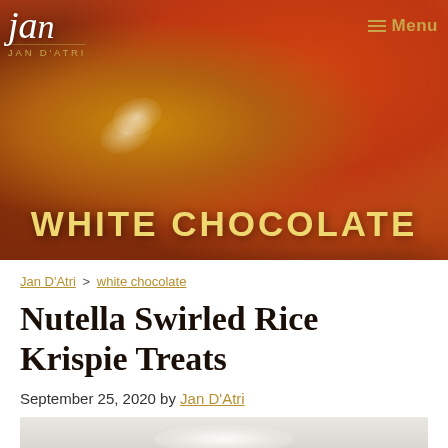[Figure (photo): Hero image showing colorful glazed vegetables/peppers in warm orange and red tones, with WHITE CHOCOLATE text overlay at bottom]
Jan D'Atri — Menu
WHITE CHOCOLATE
Jan D'Atri > white chocolate
Nutella Swirled Rice Krispie Treats
September 25, 2020 by Jan D'Atri
[Figure (photo): Partial bottom image, partially visible food photo]